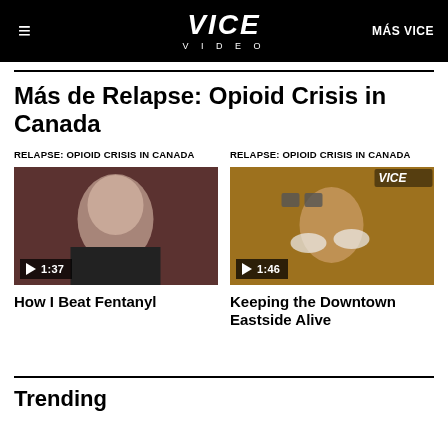VICE VIDEO | MÁS VICE
Más de Relapse: Opioid Crisis in Canada
RELAPSE: OPIOID CRISIS IN CANADA
[Figure (screenshot): Video thumbnail showing a young woman against a brick wall. Play button badge shows 1:37.]
How I Beat Fentanyl
RELAPSE: OPIOID CRISIS IN CANADA
[Figure (screenshot): Video thumbnail showing a woman in a yellow sweater wearing white gloves holding something. VICE logo visible. Play button badge shows 1:46.]
Keeping the Downtown Eastside Alive
Trending